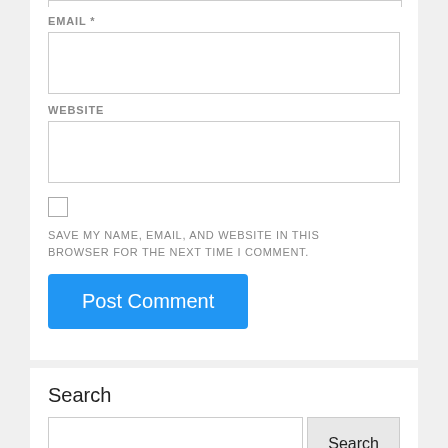EMAIL *
WEBSITE
SAVE MY NAME, EMAIL, AND WEBSITE IN THIS BROWSER FOR THE NEXT TIME I COMMENT.
Post Comment
Search
Search